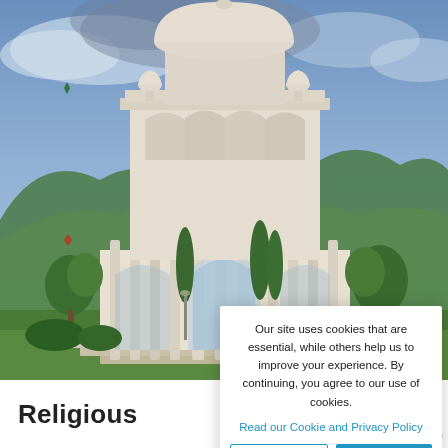[Figure (photo): White marble domed pavilion/monument (Mughal-style) with arched columns and ornate carvings, set against green trees and mountains in the background under a partly cloudy sky. Green manicured grounds visible in foreground.]
Our site uses cookies that are essential, while others help us to improve your experience. By continuing, you agree to our use of cookies.
Read our Cookie and Privacy Policy
Dismiss
Got it!
Religious